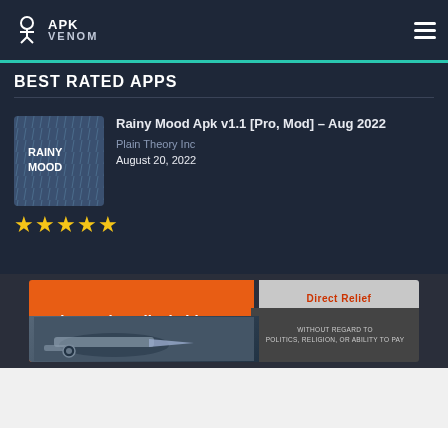APK VENOM
BEST RATED APPS
Rainy Mood Apk v1.1 [Pro, Mod] – Aug 2022
Plain Theory Inc
August 20, 2022
★★★★★
[Figure (screenshot): Advertisement banner: orange left panel with text 'Help send medical aid' and Direct Relief logo, right panel showing airplane cargo loading image with text 'WITHOUT REGARD TO POLITICS, RELIGION, OR ABILITY TO PAY']